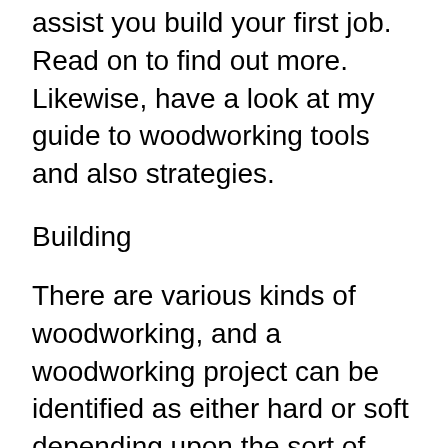assist you build your first job. Read on to find out more. Likewise, have a look at my guide to woodworking tools and also strategies.
Building
There are various kinds of woodworking, and a woodworking project can be identified as either hard or soft depending upon the sort of product. Wood is any type of tree with a huge fallen leave bearing structure, such as oak or maple. Softwood is any tree that does not produce a fallen leave bearing structure, such as want or cedar. Woodworking building and construction typically entails structure frameworks that are planned to hold weight, such as tables as well as furnishings. There are additionally specialized jobs within